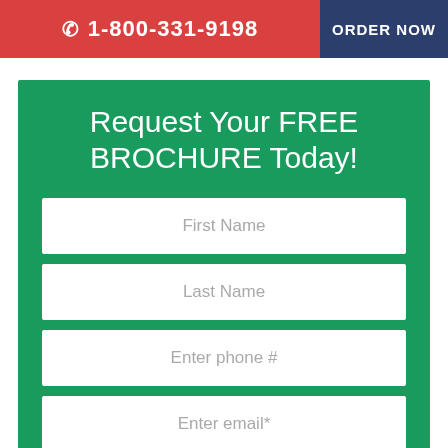☎ 1-800-331-9198  ORDER NOW
Request Your FREE BROCHURE Today!
First Name
Last Name
Enter phone #
Enter email*
SUBMIT ▶